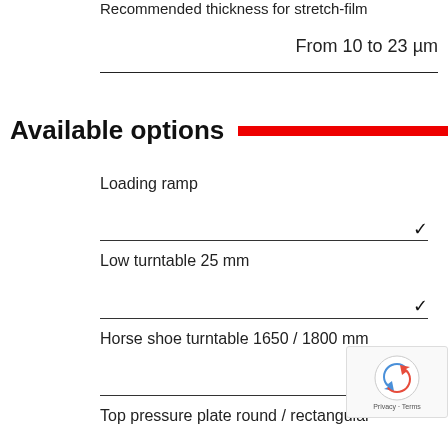Recommended thickness for stretch-film
From 10 to 23 µm
Available options
Loading ramp
Low turntable 25 mm
Horse shoe turntable 1650 / 1800 mm
Top pressure plate round / rectangular